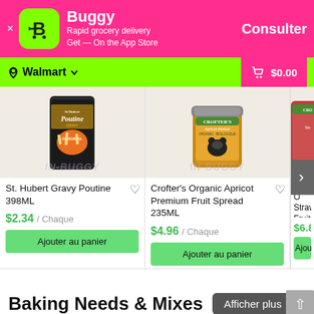[Figure (screenshot): App store advertisement banner for Buggy - Rapid grocery delivery app with pink background, green icon with B logo, and Consulter CTA button]
Walmart  $0.00
[Figure (photo): St. Hubert Gravy Poutine 398ML can product image]
St. Hubert Gravy Poutine 398ML
$2.34 / Chaque
Ajouter au panier
[Figure (photo): Crofter's Organic Apricot Premium Fruit Spread 235ML jar product image]
Crofter's Organic Apricot Premium Fruit Spread 235ML
$4.96 / Chaque
Ajouter au panier
Crofter's Organic Strawberry Premium Fruit Spread
$6.84 / C
Ajouter
Baking Needs & Mixes
Afficher plus